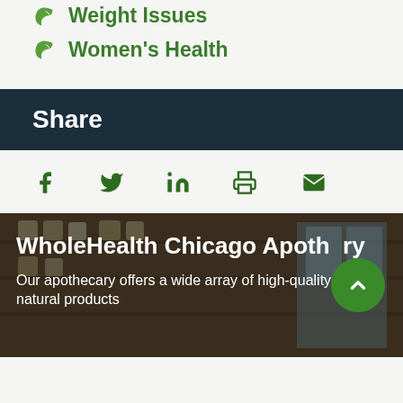Weight Issues
Women's Health
Share
[Figure (infographic): Social sharing icons: Facebook, Twitter, LinkedIn, Print, Email]
[Figure (photo): WholeHealth Chicago Apothecary banner with store interior photo showing shelves with natural products]
WholeHealth Chicago Apothecary
Our apothecary offers a wide array of high-quality natural products